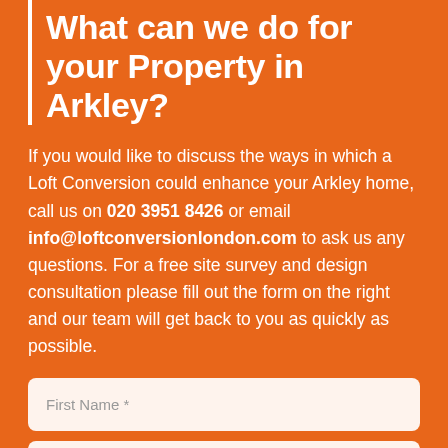What can we do for your Property in Arkley?
If you would like to discuss the ways in which a Loft Conversion could enhance your Arkley home, call us on 020 3951 8426 or email info@loftconversionlondon.com to ask us any questions. For a free site survey and design consultation please fill out the form on the right and our team will get back to you as quickly as possible.
First Name *
Last Name *